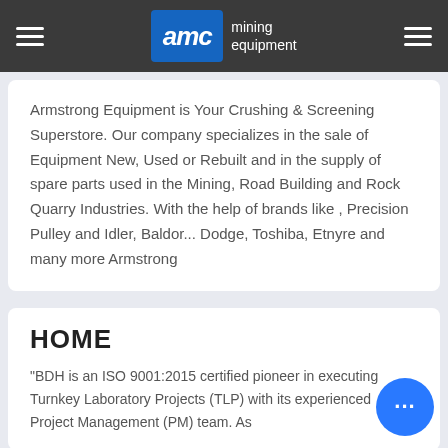AMC mining equipment
Armstrong Equipment is Your Crushing & Screening Superstore. Our company specializes in the sale of Equipment New, Used or Rebuilt and in the supply of spare parts used in the Mining, Road Building and Rock Quarry Industries. With the help of brands like , Precision Pulley and Idler, Baldor... Dodge, Toshiba, Etnyre and many more Armstrong
HOME
"BDH is an ISO 9001:2015 certified pioneer in executing Turnkey Laboratory Projects (TLP) with its experienced Project Management (PM) team. As